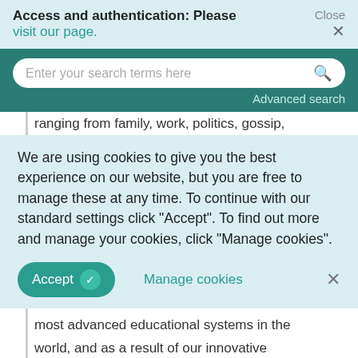Access and authentication: Please visit our page.
Close ×
Enter your search terms here
Advanced search
ranging from family, work, politics, gossip,
We are using cookies to give you the best experience on our website, but you are free to manage these at any time. To continue with our standard settings click "Accept". To find out more and manage your cookies, click "Manage cookies".
Accept   ✓   Manage cookies   ×
most advanced educational systems in the world, and as a result of our innovative